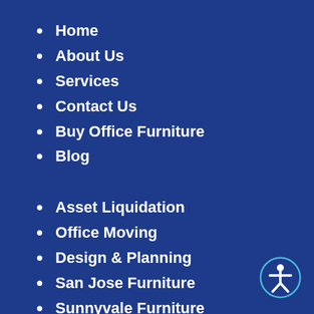Home
About Us
Services
Contact Us
Buy Office Furniture
Blog
Asset Liquidation
Office Moving
Design & Planning
San Jose Furniture
Sunnyvale Furniture
Palo Alto Furniture
California Furniture